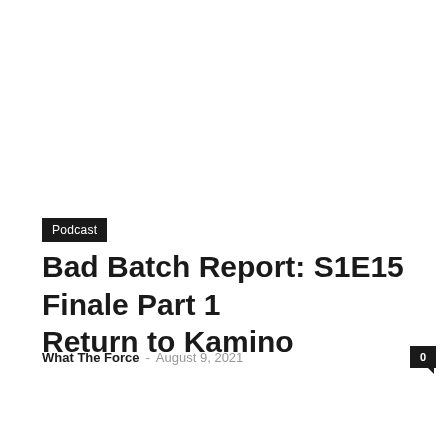Podcast
Bad Batch Report: S1E15 Finale Part 1 Return to Kamino
What The Force – August 9, 2021